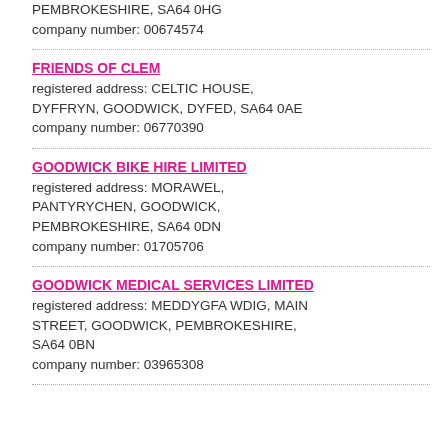PEMBROKESHIRE, SA64 0HG
company number: 00674574
FRIENDS OF CLEM
registered address: CELTIC HOUSE, DYFFRYN, GOODWICK, DYFED, SA64 0AE
company number: 06770390
GOODWICK BIKE HIRE LIMITED
registered address: MORAWEL, PANTYRYCHEN, GOODWICK, PEMBROKESHIRE, SA64 0DN
company number: 01705706
GOODWICK MEDICAL SERVICES LIMITED
registered address: MEDDYGFA WDIG, MAIN STREET, GOODWICK, PEMBROKESHIRE, SA64 0BN
company number: 03965308